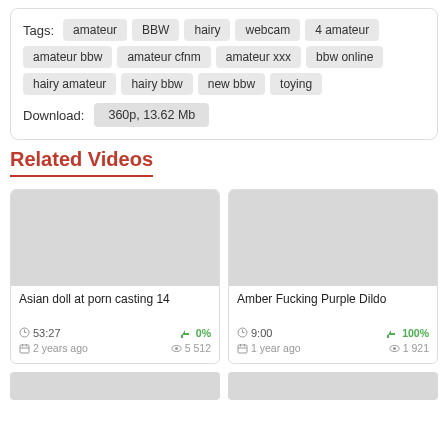Tags: amateur BBW hairy webcam 4 amateur amateur bbw amateur cfnm amateur xxx bbw online hairy amateur hairy bbw new bbw toying
Download: 360p, 13.62 Mb
Related Videos
[Figure (screenshot): Video thumbnail placeholder - grey rectangle for 'Asian doll at porn casting 14']
Asian doll at porn casting 14
53:27   0%
2 years ago   5 512
[Figure (screenshot): Video thumbnail placeholder - grey rectangle for 'Amber Fucking Purple Dildo']
Amber Fucking Purple Dildo
9:00   100%
1 year ago   1 921